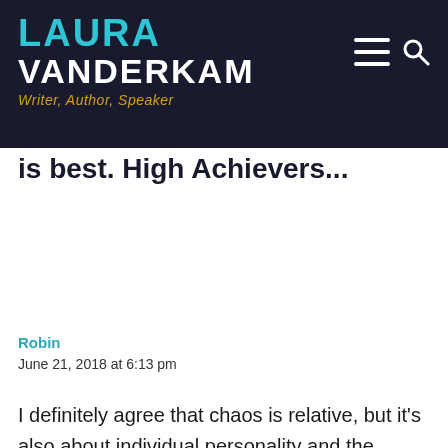LAURA VANDERKAM — Writer, Author, Speaker
is best. High Achievers...
Robin
June 21, 2018 at 6:13 pm
I definitely agree that chaos is relative, but it's also about individual personality and the resources one has to mitigate the chaos. Or perhaps, the *kind* of chaos one is trying mitigate? One of my best friends from college and I are both librarians and we both had kids at about the same time. When she became a parent, she decided to get two part-time jobs, ostensibly for flexibility while her husband worked